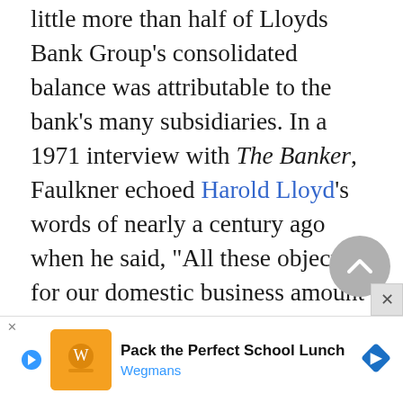little more than half of Lloyds Bank Group's consolidated balance was attributable to the bank's many subsidiaries. In a 1971 interview with The Banker, Faulkner echoed Harold Lloyd's words of nearly a century ago when he said, "All these objectives for our domestic business amount simply to being not the largest but the best of the clearing banks."
Sir Jeremy Morse succeeded Faulkner as one
[Figure (other): Grey circular scroll-to-top button with upward chevron arrow, and an X close button]
[Figure (other): Advertisement banner: Play button, orange square ad image with Wegmans logo, text 'Pack the Perfect School Lunch', brand 'Wegmans', blue diamond navigation logo]